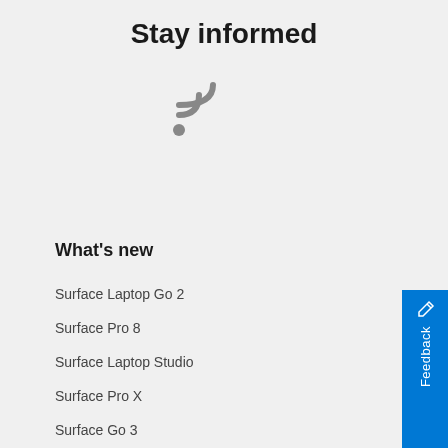Stay informed
[Figure (illustration): RSS feed icon in gray]
What's new
Surface Laptop Go 2
Surface Pro 8
Surface Laptop Studio
Surface Pro X
Surface Go 3
Surface Duo 2